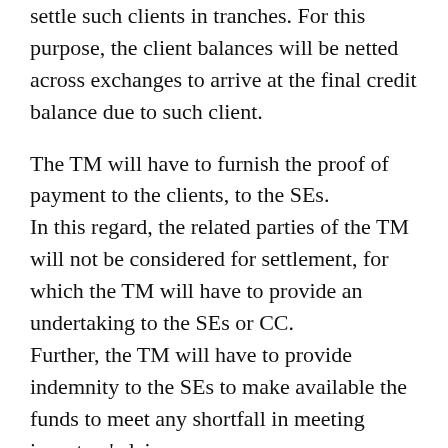According to the regulation, SE or CC may settle such clients in tranches. For this purpose, the client balances will be netted across exchanges to arrive at the final credit balance due to such client.
The TM will have to furnish the proof of payment to the clients, to the SEs. In this regard, the related parties of the TM will not be considered for settlement, for which the TM will have to provide an undertaking to the SEs or CC. Further, the TM will have to provide indemnity to the SEs to make available the funds to meet any shortfall in meeting investors' claims. Clients withdrawing their claim will have to submit unconditional withdrawal letter to the